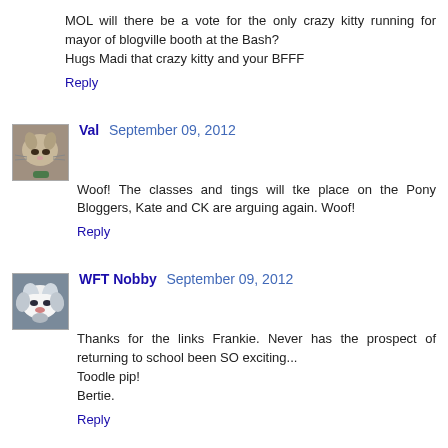MOL will there be a vote for the only crazy kitty running for mayor of blogville booth at the Bash?
Hugs Madi that crazy kitty and your BFFF
Reply
Val  September 09, 2012
Woof! The classes and tings will tke place on the Pony Bloggers, Kate and CK are arguing again. Woof!
Reply
WFT Nobby  September 09, 2012
Thanks for the links Frankie. Never has the prospect of returning to school been SO exciting...
Toodle pip!
Bertie.
Reply